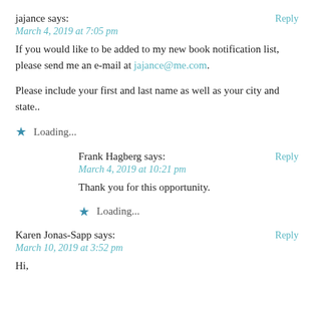jajance says:
March 4, 2019 at 7:05 pm
If you would like to be added to my new book notification list, please send me an e-mail at jajance@me.com.
Please include your first and last name as well as your city and state..
Loading...
Frank Hagberg says:
March 4, 2019 at 10:21 pm
Thank you for this opportunity.
Loading...
Karen Jonas-Sapp says:
March 10, 2019 at 3:52 pm
Hi,